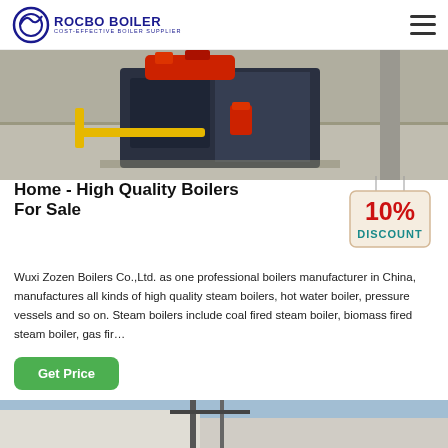ROCBO BOILER — COST-EFFECTIVE BOILER SUPPLIER
[Figure (photo): Industrial boiler unit on a factory floor, with yellow gas piping and red machinery components, grey concrete floor]
Home - High Quality Boilers For Sale
[Figure (illustration): 10% DISCOUNT badge hanging on strings, red and teal text on a cream tag shape]
Wuxi Zozen Boilers Co.,Ltd. as one professional boilers manufacturer in China, manufactures all kinds of high quality steam boilers, hot water boiler, pressure vessels and so on. Steam boilers include coal fired steam boiler, biomass fired steam boiler, gas fir…
Get Price
[Figure (photo): Partial view of building exterior with antenna or tower structure against blue sky]